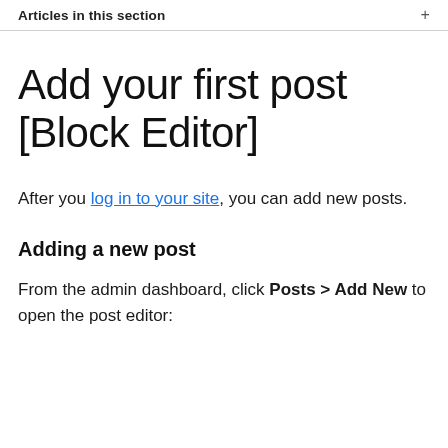Articles in this section
Add your first post [Block Editor]
After you log in to your site, you can add new posts.
Adding a new post
From the admin dashboard, click Posts > Add New to open the post editor: